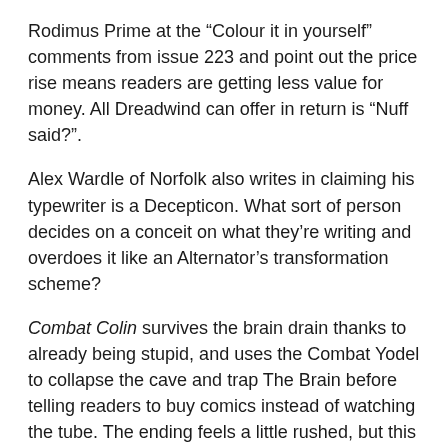Rodimus Prime at the “Colour it in yourself” comments from issue 223 and point out the price rise means readers are getting less value for money. All Dreadwind can offer in return is “Nuff said?”.
Alex Wardle of Norfolk also writes in claiming his typewriter is a Decepticon. What sort of person decides on a conceit on what they’re writing and overdoes it like an Alternator’s transformation scheme?
Combat Colin survives the brain drain thanks to already being stupid, and uses the Combat Yodel to collapse the cave and trap The Brain before telling readers to buy comics instead of watching the tube. The ending feels a little rushed, but this has been one of the all time great Colin stories.
In the same way Farewell My Lovely became Murder, My Sweet for the film, the Brits call G.I. Joe Action Force, guess they can’t handle a real American hero. The new story is